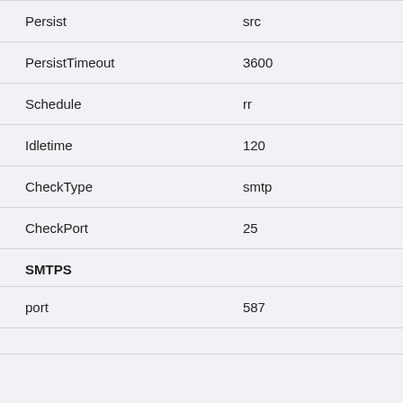| Parameter | Value |
| --- | --- |
| Persist | src |
| PersistTimeout | 3600 |
| Schedule | rr |
| Idletime | 120 |
| CheckType | smtp |
| CheckPort | 25 |
| SMTPS |  |
| port | 587 |